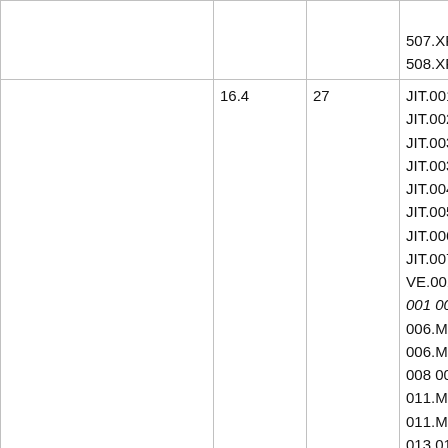|  |  |  | 507.XP
508.XP |
| 16.4 | 27 | JIT.001
JIT.002
JIT.003
JIT.003
JIT.004
JIT.005
JIT.006
JIT.007
VE.001
001 00
006.M
006.M
008 00
011.M
011.M
013 01
017.01 |